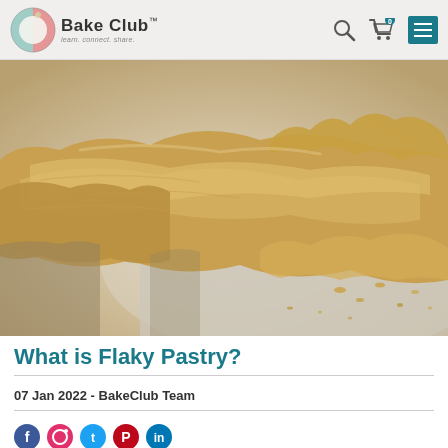BakeClub™ — learn. connect. share.
[Figure (photo): Close-up photograph of flaky pastry dough broken apart on parchment paper, showing layered flaky texture with crumbs scattered around]
What is Flaky Pastry?
07 Jan 2022 - BakeClub Team